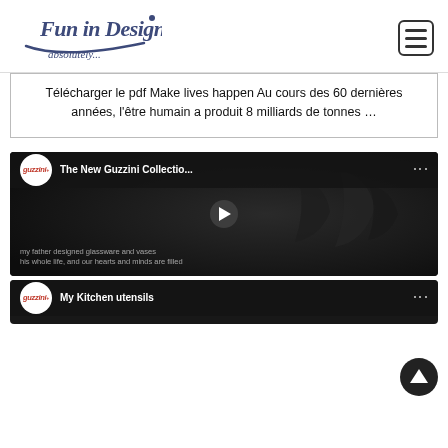[Figure (logo): Fun in Design logo with cursive text and 'absolutely...' tagline]
Télécharger le pdf Make lives happen Au cours des 60 dernières années, l'être humain a produit 8 milliards de tonnes …
[Figure (screenshot): YouTube video thumbnail: The New Guzzini Collectio... with dark background showing glassware, play button, and subtitle text 'my father designed glassware and vases his whole life, and our hearts and minds are filled']
[Figure (screenshot): YouTube video thumbnail: My Kitchen utensils - Guzzini logo visible, partially cut off at bottom]